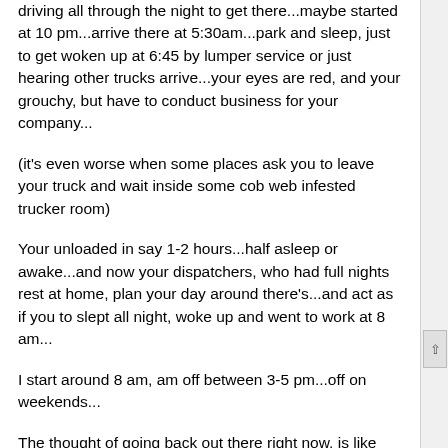driving all through the night to get there...maybe started at 10 pm...arrive there at 5:30am...park and sleep, just to get woken up at 6:45 by lumper service or just hearing other trucks arrive...your eyes are red, and your grouchy, but have to conduct business for your company...
(it's even worse when some places ask you to leave your truck and wait inside some cob web infested trucker room)
Your unloaded in say 1-2 hours...half asleep or awake...and now your dispatchers, who had full nights rest at home, plan your day around there's...and act as if you to slept all night, woke up and went to work at 8 am...
I start around 8 am, am off between 3-5 pm...off on weekends...
The thought of going back out there right now, is like